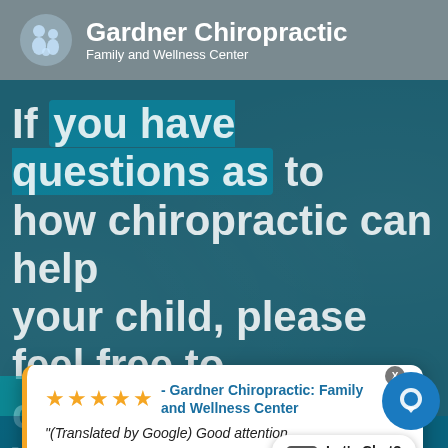[Figure (logo): Gardner Chiropractic logo with family icon on grey header bar]
Gardner Chiropractic
Family and Wellness Center
If you have questions as to how chiropractic can help your child, please feel free to contact our office. We would
[Figure (screenshot): Review popup card with 5-star rating from Gardner Chiropractic: Family and Wellness Center. Review text: (Translated by Google) Good attention daughters and I have been in treatment her and she is super good, she actually managed to relieve our discomfort and has helped my daughter with a gymnas... — Gisela Brenes, in the last 2 weeks. Powered by Review Wave. Also shows Let's Chat? button and chat bubble icon.]